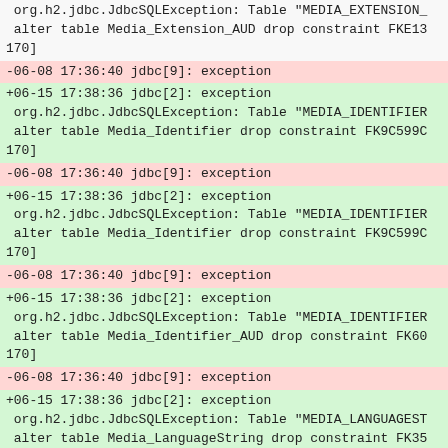org.h2.jdbc.JdbcSQLException: Table "MEDIA_EXTENSION_
 alter table Media_Extension_AUD drop constraint FKE13
170]
-06-08 17:36:40 jdbc[9]: exception
+06-15 17:38:36 jdbc[2]: exception
 org.h2.jdbc.JdbcSQLException: Table "MEDIA_IDENTIFIER
 alter table Media_Identifier drop constraint FK9C599C
170]
-06-08 17:36:40 jdbc[9]: exception
+06-15 17:38:36 jdbc[2]: exception
 org.h2.jdbc.JdbcSQLException: Table "MEDIA_IDENTIFIER
 alter table Media_Identifier drop constraint FK9C599C
170]
-06-08 17:36:40 jdbc[9]: exception
+06-15 17:38:36 jdbc[2]: exception
 org.h2.jdbc.JdbcSQLException: Table "MEDIA_IDENTIFIER
 alter table Media_Identifier_AUD drop constraint FK60
170]
-06-08 17:36:40 jdbc[9]: exception
+06-15 17:38:36 jdbc[2]: exception
 org.h2.jdbc.JdbcSQLException: Table "MEDIA_LANGUAGEST
 alter table Media_LanguageString drop constraint FK35
170]
-06-08 17:36:40 jdbc[9]: exception
+06-15 17:38:36 jdbc[2]: exception